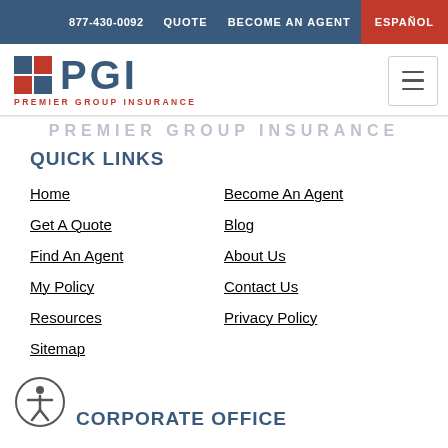877-430-0092  QUOTE  BECOME AN AGENT  ESPAÑOL
[Figure (logo): PGI Premier Group Insurance logo with grid icon and hamburger menu]
PREMIER GROUP INSURANCE
QUICK LINKS
Home
Become An Agent
Get A Quote
Blog
Find An Agent
About Us
My Policy
Contact Us
Resources
Privacy Policy
Sitemap
CORPORATE OFFICE